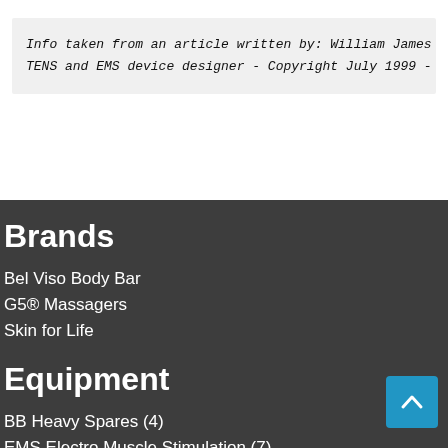Info taken from an article written by: William James Lame
TENS and EMS device designer - Copyright July 1999 - Publ
Brands
Bel Viso Body Bar
G5® Massagers
Skin for Life
Equipment
BB Heavy Spares (4)
EMS Electro Muscle Stimulation (7)